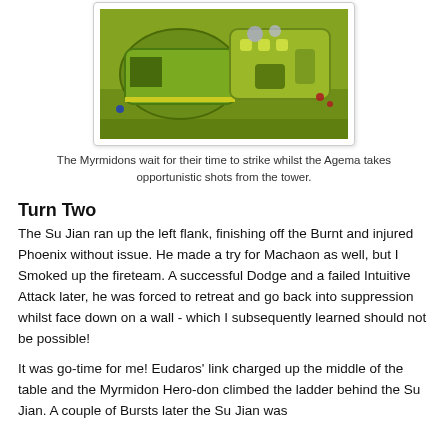[Figure (photo): Aerial/overhead view of green miniature wargame vehicles or terrain pieces on a gaming table, showing large green tank-like models with smaller miniature figures nearby]
The Myrmidons wait for their time to strike whilst the Agema takes opportunistic shots from the tower.
Turn Two
The Su Jian ran up the left flank, finishing off the Burnt and injured Phoenix without issue. He made a try for Machaon as well, but I Smoked up the fireteam. A successful Dodge and a failed Intuitive Attack later, he was forced to retreat and go back into suppression whilst face down on a wall - which I subsequently learned should not be possible!
It was go-time for me! Eudaros' link charged up the middle of the table and the Myrmidon Hero-don climbed the ladder behind the Su Jian. A couple of Bursts later the Su Jian was